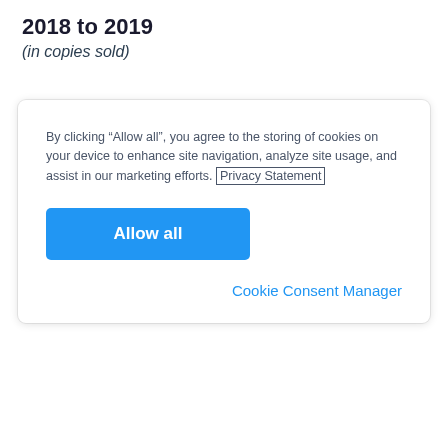2018 to 2019
(in copies sold)
By clicking “Allow all”, you agree to the storing of cookies on your device to enhance site navigation, analyze site usage, and assist in our marketing efforts. Privacy Statement
Allow all
Cookie Consent Manager